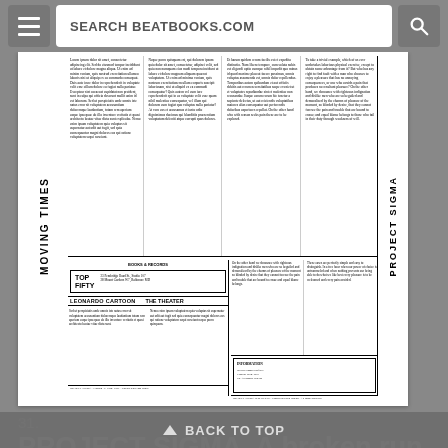SEARCH BEATBOOKS.COM
[Figure (screenshot): Scanned newspaper page showing 'Moving Times' / 'Project Sigma' publication with multiple text columns, section headers including 'TOP FIFTY', 'BOOKS & RECORDS', 'LEONARDO CARTOON', and 'THE THEATER']
31.
PROJECT SIGMA. A broken run of 20 issues of the Sigma Portfolio (London: c.
▲ BACK TO TOP